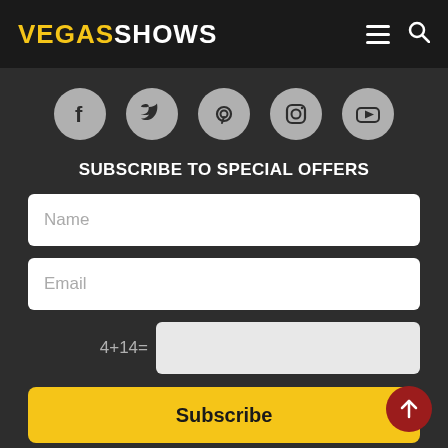VEGASSHOWS
[Figure (infographic): Social media icons row: Facebook, Twitter, Pinterest, Instagram, YouTube — circular grey buttons]
SUBSCRIBE TO SPECIAL OFFERS
[Figure (screenshot): Name input field (white rounded rectangle with grey placeholder text 'Name')]
[Figure (screenshot): Email input field (white rounded rectangle with grey placeholder text 'Email')]
4+14=
[Figure (screenshot): Captcha answer input field (light grey rounded rectangle)]
Subscribe